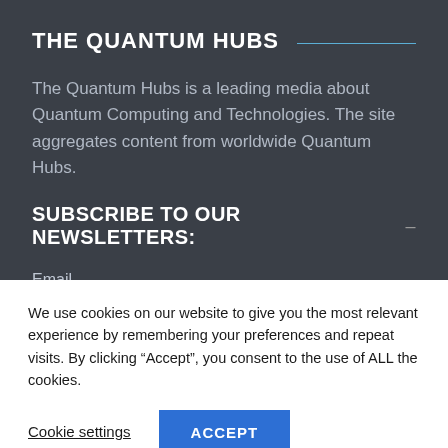THE QUANTUM HUBS
The Quantum Hubs is a leading media about Quantum Computing and Technologies. The site aggregates content from worldwide Quantum Hubs.
SUBSCRIBE TO OUR NEWSLETTERS:
Email
We use cookies on our website to give you the most relevant experience by remembering your preferences and repeat visits. By clicking “Accept”, you consent to the use of ALL the cookies.
Cookie settings
ACCEPT